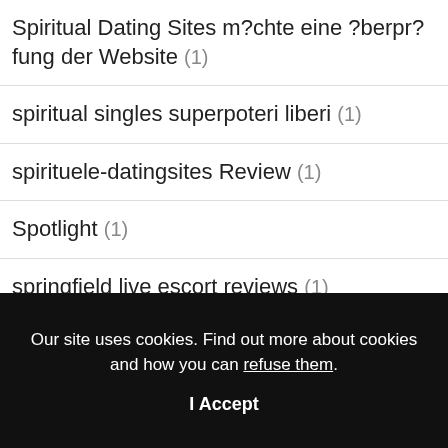Spiritual Dating Sites m?chte eine ?berpr?fung der Website (1)
spiritual singles superpoteri liberi (1)
spirituele-datingsites Review (1)
Spotlight (1)
springfield live escort reviews (1)
Our site uses cookies. Find out more about cookies and how you can refuse them.
I Accept